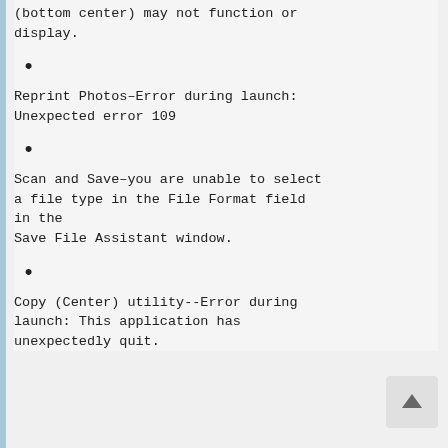(bottom center) may not function or display.
•
Reprint Photos–Error during launch: Unexpected error 109
•
Scan and Save–you are unable to select a file type in the File Format field in the Save File Assistant window.
•
Copy (Center) utility--Error during launch: This application has unexpectedly quit.